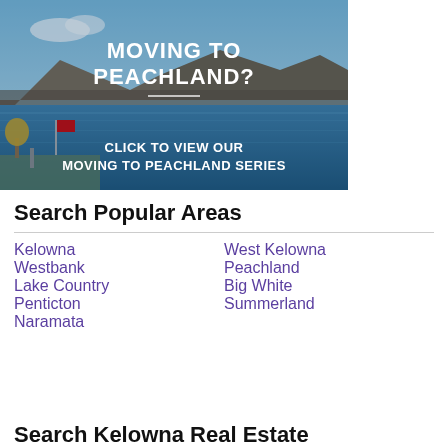[Figure (photo): Promotional banner image of Peachland BC with lake and mountain backdrop. Text overlay reads 'MOVING TO PEACHLAND?' and 'CLICK TO VIEW OUR MOVING TO PEACHLAND SERIES']
Search Popular Areas
Kelowna
West Kelowna
Westbank
Peachland
Lake Country
Big White
Penticton
Summerland
Naramata
Search Kelowna Real Estate